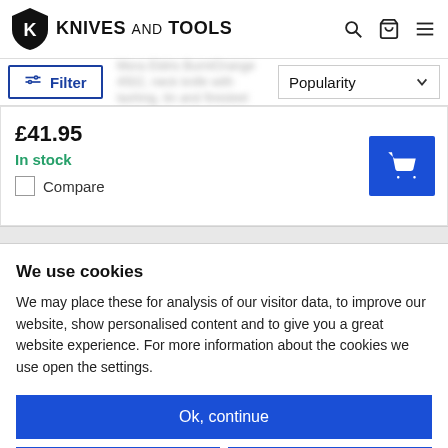KNIVES AND TOOLS
Filter | Popularity
Mora Eldris BurntOrange 4502, neck knife with lashing, tin and firesteel
£41.95
In stock
Compare
We use cookies
We may place these for analysis of our visitor data, to improve our website, show personalised content and to give you a great website experience. For more information about the cookies we use open the settings.
Ok, continue
Deny
No, adjust